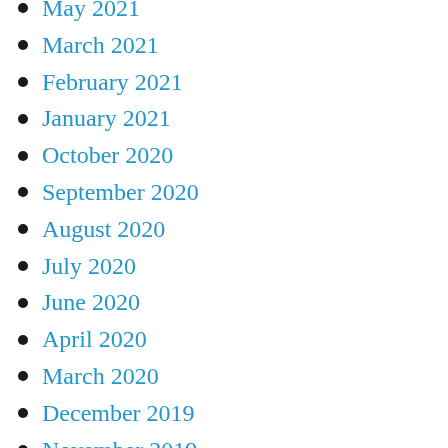May 2021
March 2021
February 2021
January 2021
October 2020
September 2020
August 2020
July 2020
June 2020
April 2020
March 2020
December 2019
November 2019
October 2019
September 2019
July 2019
June 2019